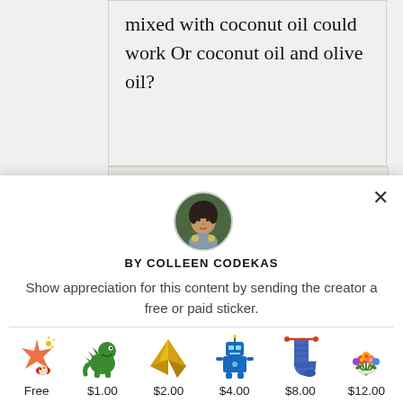mixed with coconut oil could work Or coconut oil and olive oil?
[Figure (screenshot): Creator appreciation modal with avatar photo of Colleen Codekas, sticker options priced Free, $1.00, $2.00, $4.00, $8.00, $12.00]
BY COLLEEN CODEKAS
Show appreciation for this content by sending the creator a free or paid sticker.
Free
$1.00
$2.00
$4.00
$8.00
$12.00